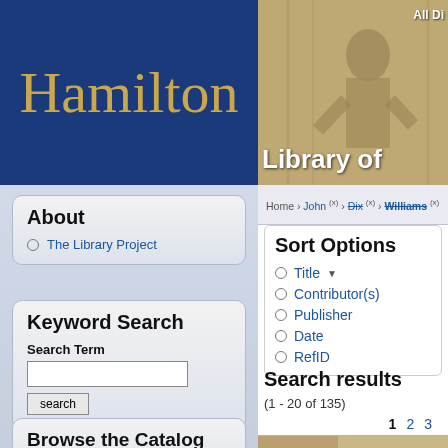[Figure (screenshot): Hamilton college library website header. Left side: dark blue background with 'Hamilton' in gold serif font. Right side: sepia-toned illustration of a person with text 'All Di' and 'Library of' overlaid in white bold text.]
Home › John (x) › Dix (x) › Williams (x)
About
The Library Project
Keyword Search
Search Term
search
Browse the Catalog
Titles
Sort Options
Title ▼
Contributor(s)
Publisher
Date
RefID
Search results
(1 - 20 of 135)
1  2  3